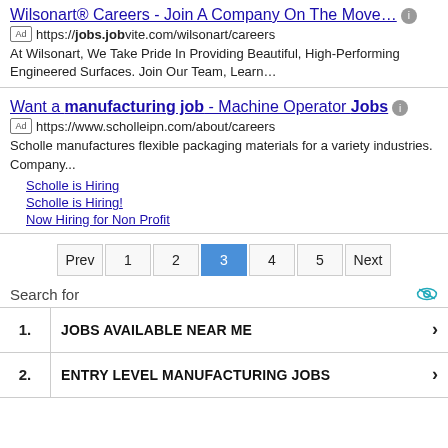Wilsonart® Careers - Join A Company On The Move…
https://jobs.jobvite.com/wilsonart/careers
At Wilsonart, We Take Pride In Providing Beautiful, High-Performing Engineered Surfaces. Join Our Team, Learn…
Want a manufacturing job - Machine Operator Jobs
https://www.scholleipn.com/about/careers
Scholle manufactures flexible packaging materials for a variety industries. Company...
Scholle is Hiring
Scholle is Hiring!
Now Hiring for Non Profit
Prev 1 2 3 4 5 Next
Search for
1. JOBS AVAILABLE NEAR ME
2. ENTRY LEVEL MANUFACTURING JOBS